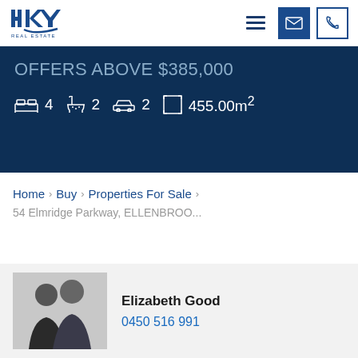HKY Real Estate
OFFERS ABOVE $385,000
4 bedrooms  2 bathrooms  2 garage  455.00m²
Home > Buy > Properties For Sale > 54 Elmridge Parkway, ELLENBROO...
Elizabeth Good
0450 516 991